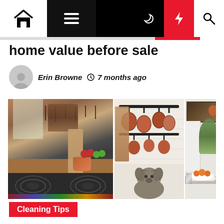Navigation bar with home, menu, moon, lightning, and search icons
home value before sale
Erin Browne  7 months ago
[Figure (photo): Three-panel collage of a rustic kitchen with copper pots hanging on a wall rack, a small fluffy gray dog sitting on the floor, cooking utensils, aprons, fruits on a wooden counter, a stove, and a bowl of oranges on a marble counter with flowers.]
Cleaning Tips